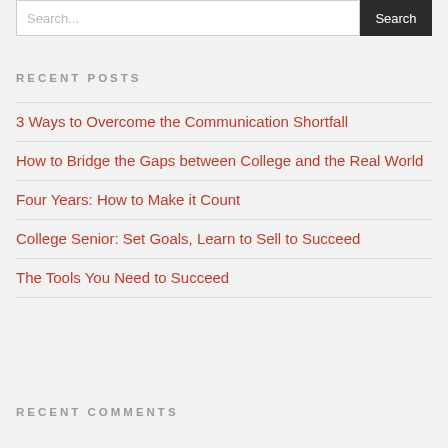Search...  Search
RECENT POSTS
3 Ways to Overcome the Communication Shortfall
How to Bridge the Gaps between College and the Real World
Four Years: How to Make it Count
College Senior: Set Goals, Learn to Sell to Succeed
The Tools You Need to Succeed
RECENT COMMENTS